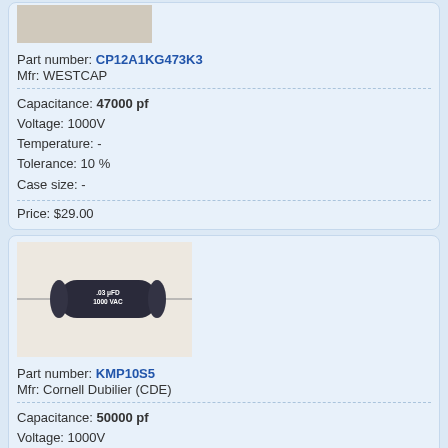[Figure (photo): Partial top image of a capacitor (cropped at top of page)]
Part number: CP12A1KG473K3
Mfr: WESTCAP
Capacitance: 47000 pf
Voltage: 1000V
Temperature: -
Tolerance: 10 %
Case size: -
Price: $29.00
[Figure (photo): Photo of a dark cylindrical capacitor (Cornell Dubilier) with axial leads on a light background]
Part number: KMP10S5
Mfr: Cornell Dubilier (CDE)
Capacitance: 50000 pf
Voltage: 1000V
Temperature: -55°C to +125°C
Tolerance: 10%
Case size: length 1.50 in, diameter 0.51 in